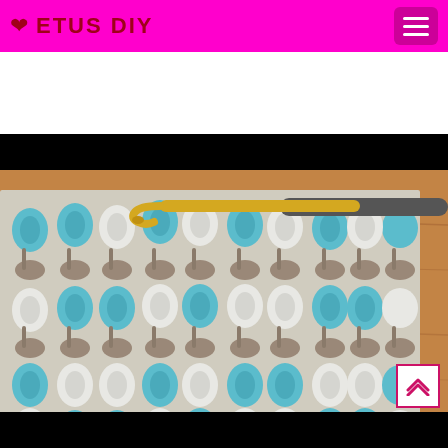❤ ETUS DIY
[Figure (photo): Close-up photo of a crochet project showing a textured woven stitch pattern in blue, white, and gray yarn, with a gold and gray crochet hook visible at the top. The pattern shows a basketweave or basket stitch design with alternating clusters of stitches.]